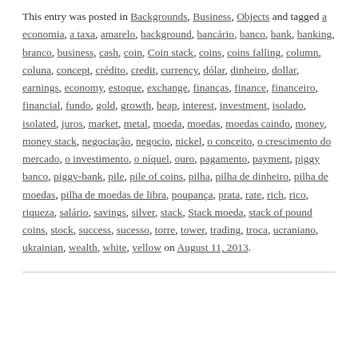This entry was posted in Backgrounds, Business, Objects and tagged a economia, a taxa, amarelo, background, bancário, banco, bank, banking, branco, business, cash, coin, Coin stack, coins, coins falling, column, coluna, concept, crédito, credit, currency, dólar, dinheiro, dollar, earnings, economy, estoque, exchange, finanças, finance, financeiro, financial, fundo, gold, growth, heap, interest, investment, isolado, isolated, juros, market, metal, moeda, moedas, moedas caindo, money, money stack, negociação, negocio, nickel, o conceito, o crescimento do mercado, o investimento, o níquel, ouro, pagamento, payment, piggy banco, piggy-bank, pile, pile of coins, pilha, pilha de dinheiro, pilha de moedas, pilha de moedas de libra, poupança, prata, rate, rich, rico, riqueza, salário, savings, silver, stack, Stack moeda, stack of pound coins, stock, success, sucesso, torre, tower, trading, troca, ucraniano, ukrainian, wealth, white, yellow on August 11, 2013.